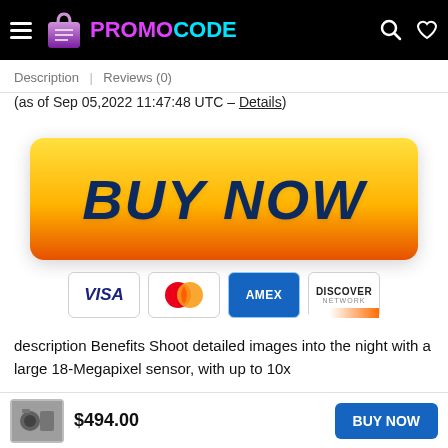PROMOCODE
Description | Reviews (0)
(as of Sep 05,2022 11:47:48 UTC – Details)
[Figure (other): Large yellow-to-orange gradient BUY NOW button]
[Figure (other): Payment method badges: VISA, MasterCard, AMEX, DISCOVER]
description Benefits Shoot detailed images into the night with a large 18-Megapixel sensor, with up to 10x ... ea than many sma ... Experience the power of interchangeable lenses an...
$494.00  BUY NOW